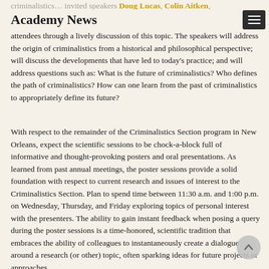Academy News
criminalistics… invited speakers Doug Lucas, Colin Aitken, Pierre Margot, Sheila Willis, and Claude Roux will lead sessions attendees through a lively discussion of this topic. The speakers will address the origin of criminalistics from a historical and philosophical perspective; will discuss the developments that have led to today's practice; and will address questions such as:  What is the future of criminalistics? Who defines the path of criminalistics?  How can one learn from the past of criminalistics to appropriately define its future?
With respect to the remainder of the Criminalistics Section program in New Orleans, expect the scientific sessions to be chock-a-block full of informative and thought-provoking posters and oral presentations.  As learned from past annual meetings, the poster sessions provide a solid foundation with respect to current research and issues of interest to the Criminalistics Section.  Plan to spend time between 11:30 a.m. and 1:00 p.m. on Wednesday, Thursday, and Friday exploring topics of personal interest with the presenters.  The ability to gain instant feedback when posing a query during the poster sessions is a time-honored, scientific tradition that embraces the ability of colleagues to instantaneously create a dialogue around a research (or other) topic, often sparking ideas for future projects or approaches.